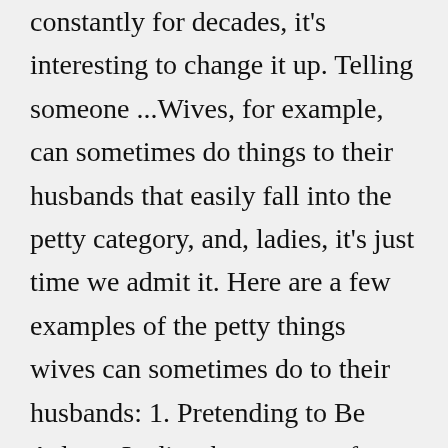constantly for decades, it's interesting to change it up. Telling someone ...Wives, for example, can sometimes do things to their husbands that easily fall into the petty category, and, ladies, it's just time we admit it. Here are a few examples of the petty things wives can sometimes do to their husbands: 1. Pretending to Be Asleep. Ladies, how many of you are guilty of this one? xi jinping speech transcript Feb 08,